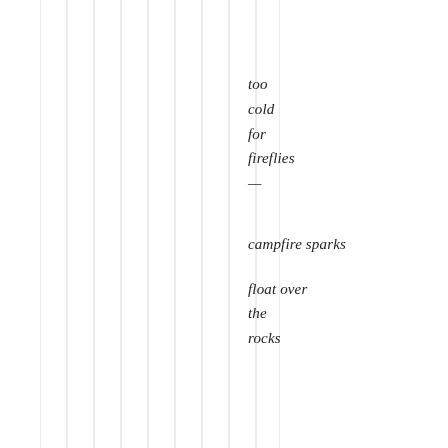[Figure (illustration): Multiple vertical light gray lines spanning the full height of the left portion of the page, creating a striped decorative background element.]
too
cold
for
fireflies
—


campfire sparks

float over
the
rocks